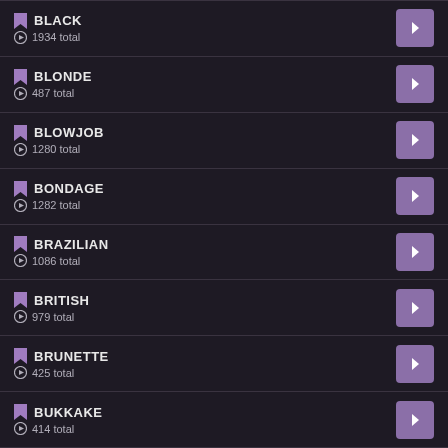BLACK · 1934 total
BLONDE · 487 total
BLOWJOB · 1280 total
BONDAGE · 1282 total
BRAZILIAN · 1086 total
BRITISH · 979 total
BRUNETTE · 425 total
BUKKAKE · 414 total